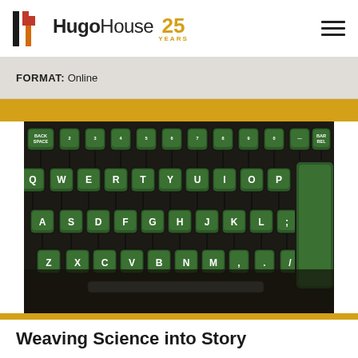Hugo House 25 YEARS
FORMAT: Online
[Figure (photo): Close-up photograph of green typewriter keys on a dark background, showing QWERTY keyboard layout]
Nonfiction
Weaving Science into Story